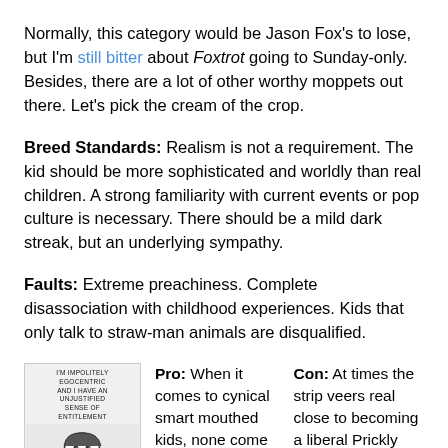Normally, this category would be Jason Fox's to lose, but I'm still bitter about Foxtrot going to Sunday-only. Besides, there are a lot of other worthy moppets out there. Let's pick the cream of the crop.
Breed Standards: Realism is not a requirement. The kid should be more sophisticated and worldly than real children. A strong familiarity with current events or pop culture is necessary. There should be a mild dark streak, but an underlying sympathy.
Faults: Extreme preachiness. Complete disassociation with childhood experiences. Kids that only talk to straw-man animals are disqualified.
[Figure (illustration): Small comic strip panel with text at top reading 'I'm impolitely egocentric and I have an unjustified sense of entitlement' and a cartoon drawing of a child character below.]
Pro: When it comes to cynical smart mouthed kids, none come more iconoclastic that the pint-sized mouthpiece of Mike. When...
Con: At times the strip veers real close to becoming a liberal Prickly City...